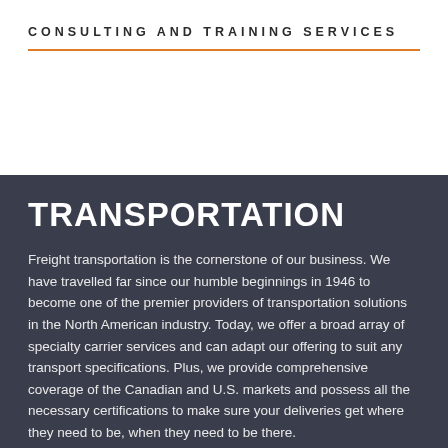CONSULTING AND TRAINING SERVICES
TRANSPORTATION
Freight transportation is the cornerstone of our business. We have travelled far since our humble beginnings in 1946 to become one of the premier providers of transportation solutions in the North American industry. Today, we offer a broad array of specialty carrier services and can adapt our offering to suit any transport specifications. Plus, we provide comprehensive coverage of the Canadian and U.S. markets and possess all the necessary certifications to make sure your deliveries get where they need to be, when they need to be there.